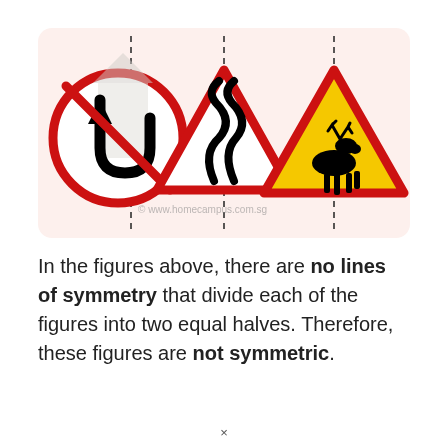[Figure (illustration): Three road signs inside a light pink/beige rounded rectangle. Left: a circular red-bordered 'No U-turn' sign with a dashed vertical line through it. Middle: a triangular red-bordered warning sign with a winding road symbol and a dashed vertical line. Right: a triangular red-bordered yellow warning sign with a moose/deer silhouette and a dashed vertical line. Each dashed line represents a proposed line of symmetry.]
In the figures above, there are no lines of symmetry that divide each of the figures into two equal halves. Therefore, these figures are not symmetric.
×